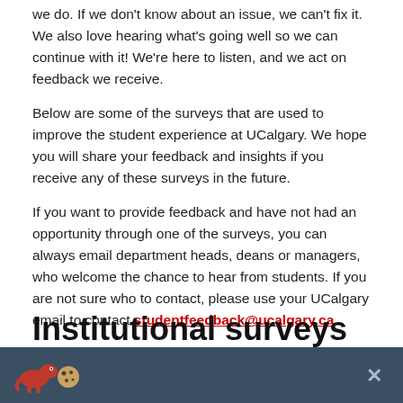we do. If we don't know about an issue, we can't fix it. We also love hearing what's going well so we can continue with it! We're here to listen, and we act on feedback we receive.
Below are some of the surveys that are used to improve the student experience at UCalgary. We hope you will share your feedback and insights if you receive any of these surveys in the future.
If you want to provide feedback and have not had an opportunity through one of the surveys, you can always email department heads, deans or managers, who welcome the chance to hear from students. If you are not sure who to contact, please use your UCalgary email to contact studentfeedback@ucalgary.ca.
Thank you for taking the time to share your perspectives.
Institutional surveys
[Figure (other): Cookie consent bar with dinosaur cookie mascot icons and a close button]